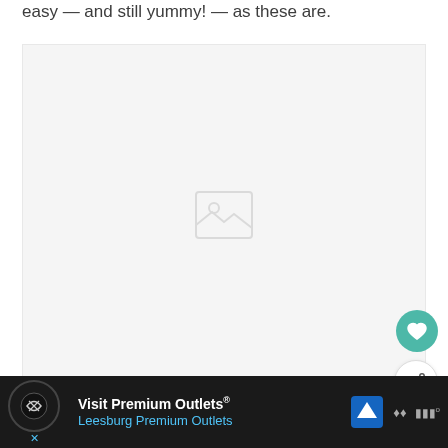easy — and still yummy! — as these are.
[Figure (photo): Large image placeholder area, light gray background with a faint loading/image icon in the center]
:-) Most of these recipes are “healthy,” with
[Figure (other): Advertisement bar: Visit Premium Outlets® Leesburg Premium Outlets, with navigation and brand icons]